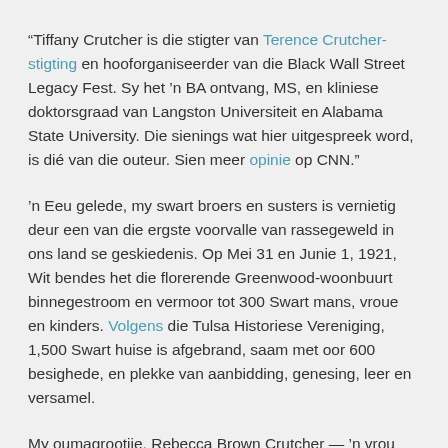“Tiffany Crutcher is die stigter van Terence Crutcher-stigting en hooforganiseerder van die Black Wall Street Legacy Fest. Sy het ’n BA ontvang, MS, en kliniese doktorsgraad van Langston Universiteit en Alabama State University. Die sienings wat hier uitgespreek word, is dié van die outeur. Sien meer opinie op CNN.”
’n Eeu gelede, my swart broers en susters is vernietig deur een van die ergste voorvalle van rassegeweld in ons land se geskiedenis. Op Mei 31 en Junie 1, 1921, Wit bendes het die florerende Greenwood-woonbuurt binnegestroom en vermoor tot 300 Swart mans, vroue en kinders. Volgens die Tulsa Historiese Vereniging, 1,500 Swart huise is afgebrand, saam met oor 600 besighede, en plekke van aanbidding, genesing, leer en versamel.
My oumagrootjie, Rebecca Brown Crutcher — ’n vrou wat die prentjie was van Swart uitnemendheid — het in die Greenwood-gemeenskap gewoon en